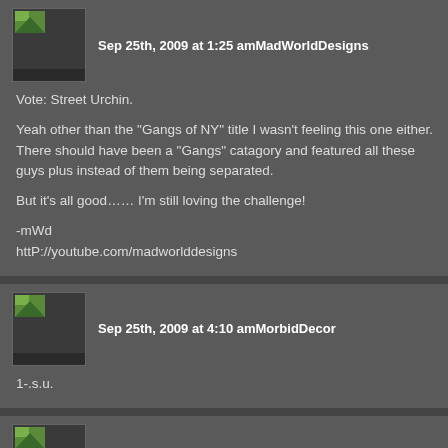Sep 25th, 2009 at 1:25 am MadWorldDesigns
Vote: Street Urchin.

Yeah other than the “Gangs of NY” title I wasn’t feeling this one either. There should have been a “Gangs” catagory and featured all these guys plus instead of them being separated.

But it’s all good…… I’m still loving the challenge!

-mWd
httP://youtube.com/madworlddesigns
Sep 25th, 2009 at 4:10 am MorbidDecor
1-.s.u.
Sep 25th, 2009 at 5:46 am Fridayluver
Street Urchin definitely. I thought he was cute.